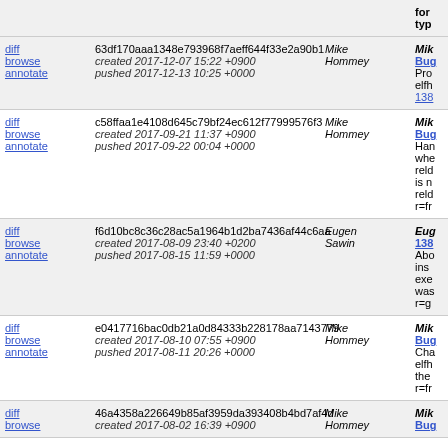|  | Commit | Author | Description (partial) |
| --- | --- | --- | --- |
| diff
browse
annotate | 63df170aaa1348e793968f7aeff644f33e2a90b1
created 2017-12-07 15:22 +0900
pushed 2017-12-13 10:25 +0000 | Mike Hommey | Mik...
Bug...
Pro...
elfh...
138... |
| diff
browse
annotate | c58ffaa1e4108d645c79bf24ec612f77999576f3
created 2017-09-21 11:37 +0900
pushed 2017-09-22 00:04 +0000 | Mike Hommey | Mik...
Bug...
Han...
whe...
reld...
is n...
reld...
r=fr... |
| diff
browse
annotate | f6d10bc8c36c28ac5a1964b1d2ba7436af44c6aa
created 2017-08-09 23:40 +0200
pushed 2017-08-15 11:59 +0000 | Eugen Sawin | Eug...
138...
Abo...
ins...
exe...
was...
r=g... |
| diff
browse
annotate | e0417716bac0db21a0d84333b228178aa7143779
created 2017-08-10 07:55 +0900
pushed 2017-08-11 20:26 +0000 | Mike Hommey | Mik...
Bug...
Cha...
elfh...
the...
r=fr... |
| diff
browse | 46a4358a226649b85af3959da393408b4bd7af4d
created 2017-08-02 16:39 +0900 | Mike Hommey | Mik...
Bug... |